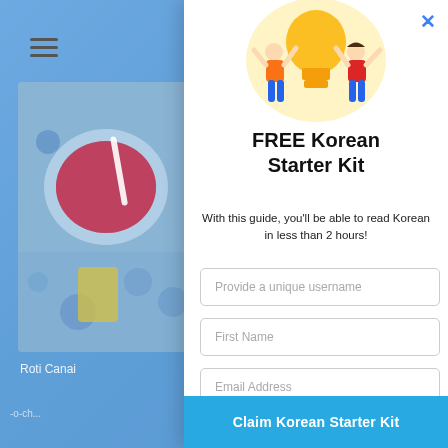[Figure (screenshot): Mobile website screenshot with blue overlay showing food/drink images and navigation hamburger icon on the left panel, and a popup modal on the right for a free Korean Starter Kit with form fields and a claim button.]
Roti Canai
FREE Korean Starter Kit
With this guide, you’ll be able to read Korean in less than 2 hours!
Provide a unique username
First Name
Email Address
Claim Korean Starter Kit